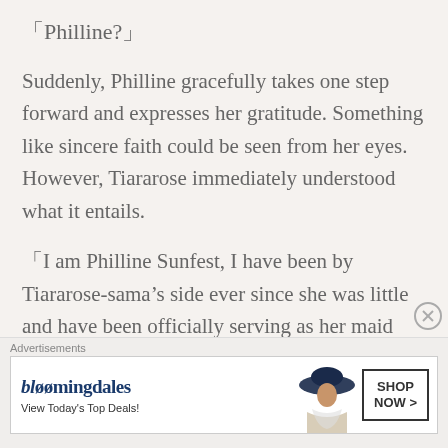「Philline?」
Suddenly, Philline gracefully takes one step forward and expresses her gratitude. Something like sincere faith could be seen from her eyes. However, Tiararose immediately understood what it entails.
「I am Philline Sunfest, I have been by Tiararose-sama’s side ever since she was little and have been officially serving as her maid since one year ago」
「Philline grew up with me, it is not an
Advertisements
[Figure (other): Bloomingdale's advertisement banner with logo, tagline 'View Today’s Top Deals!', model wearing wide-brim hat, and 'SHOP NOW >' button]